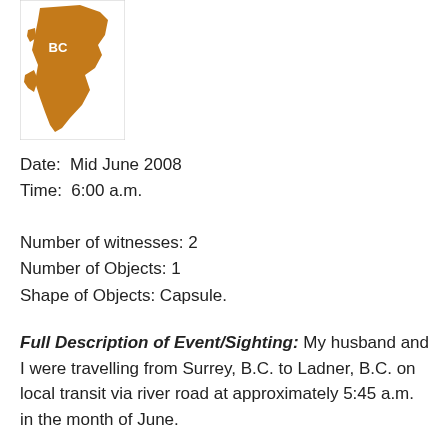[Figure (logo): Orange/brown silhouette map of British Columbia with 'BC' text label, on a white background with thin border]
Date:  Mid June 2008
Time:  6:00 a.m.
Number of witnesses: 2
Number of Objects: 1
Shape of Objects: Capsule.
Full Description of Event/Sighting: My husband and I were travelling from Surrey, B.C. to Ladner, B.C. on local transit via river road at approximately 5:45 a.m. in the month of June.
The weather was clear, no clouds and sun was beginning to rise. This area nearing Ladner is a rural route and is mostly farms so you have a very good view with no obstacles to mislead you.
I happen to be looking out the window at Mount Baker in the